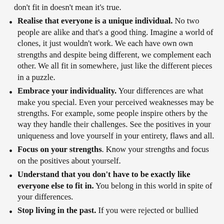don't fit in doesn't mean it's true.
Realise that everyone is a unique individual. No two people are alike and that's a good thing. Imagine a world of clones, it just wouldn't work. We each have own own strengths and despite being different, we complement each other. We all fit in somewhere, just like the different pieces in a puzzle.
Embrace your individuality. Your differences are what make you special. Even your perceived weaknesses may be strengths. For example, some people inspire others by the way they handle their challenges. See the positives in your uniqueness and love yourself in your entirety, flaws and all.
Focus on your strengths. Know your strengths and focus on the positives about yourself.
Understand that you don't have to be exactly like everyone else to fit in. You belong in this world in spite of your differences.
Stop living in the past. If you were rejected or bullied